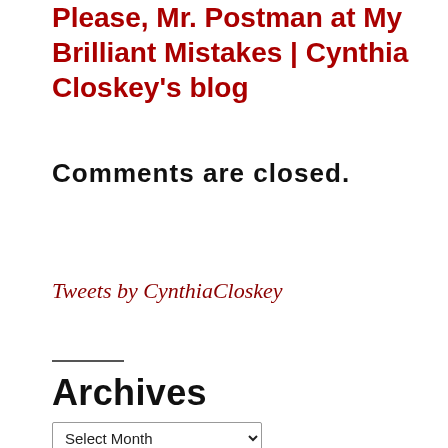Please, Mr. Postman at My Brilliant Mistakes | Cynthia Closkey’s blog
Comments are closed.
Tweets by CynthiaCloskey
Archives
Select Month